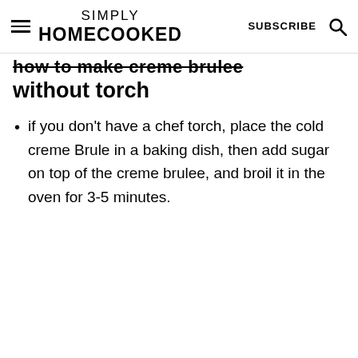SIMPLY HOMECOOKED | SUBSCRIBE
How to make creme brulee without torch
if you don't have a chef torch, place the cold creme Brule in a baking dish, then add sugar on top of the creme brulee, and broil it in the oven for 3-5 minutes.